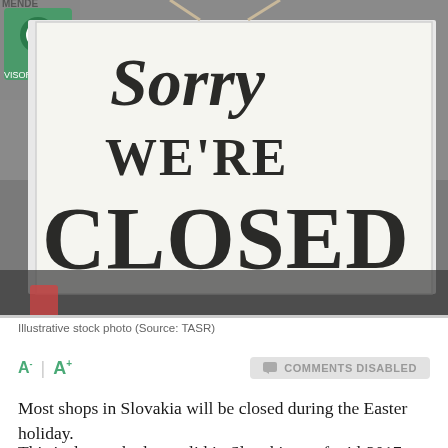[Figure (photo): Photograph of a 'Sorry WE'RE CLOSED' sign hanging in a shop window, with a TripAdvisor sticker visible in the upper left background.]
Illustrative stock photo (Source: TASR)
A⁻ | A⁺   COMMENTS DISABLED
Most shops in Slovakia will be closed during the Easter holiday.
This is due to the law valid in Slovakia as of mid-2017